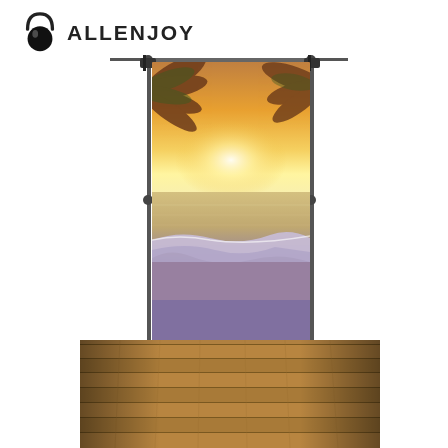[Figure (logo): Allenjoy brand logo with a black egg/teardrop shape with an arc above it, next to the text ALLENJOY in bold uppercase letters]
[Figure (photo): Product photo showing a photography backdrop/background hung on a metal backdrop stand frame. The backdrop depicts a tropical beach sunset scene with palm trees overhead, glowing golden sunlight reflecting on the ocean waves, and a sandy shore. The foreground shows a wooden plank floor extending toward the camera. The overall scene is warm-toned with purple/golden hues.]